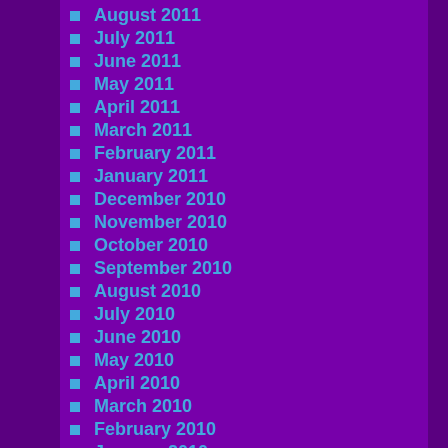August 2011
July 2011
June 2011
May 2011
April 2011
March 2011
February 2011
January 2011
December 2010
November 2010
October 2010
September 2010
August 2010
July 2010
June 2010
May 2010
April 2010
March 2010
February 2010
January 2010
December 2009
November 2009